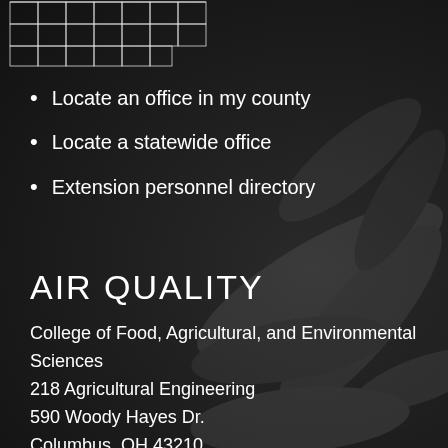[Figure (map): Partial view of an Ohio county map shown in white outlines on a dark background, visible in the upper-left corner of the page.]
Locate an office in my county
Locate a statewide office
Extension personnel directory
AIR QUALITY
College of Food, Agricultural, and Environmental Sciences
218 Agricultural Engineering
590 Woody Hayes Dr.
Columbus, OH 43210
Phone: 614-292-2366